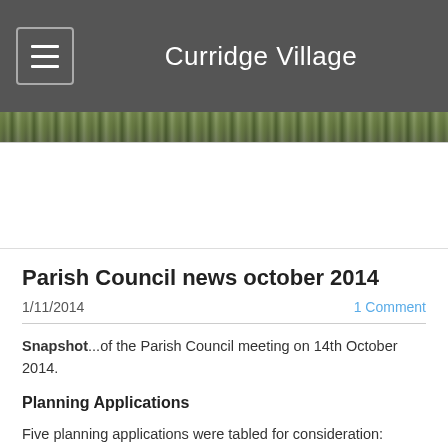Curridge Village
[Figure (photo): Narrow strip showing a tree-lined outdoor scene]
Parish Council news october 2014
1/11/2014
1 Comment
Snapshot...of the Parish Council meeting on 14th October 2014.
Planning Applications
Five planning applications were tabled for consideration:
One was for the change of use of land north of the M4 on the east side of Hampstead Norreys Road, Hermitage to